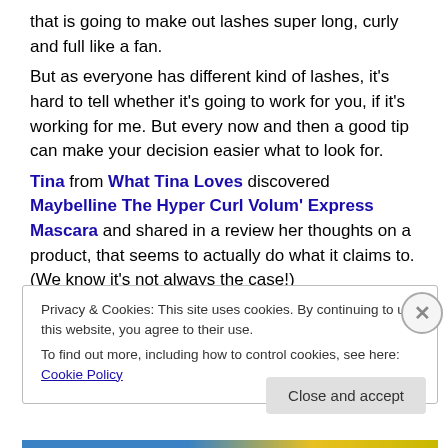that is going to make out lashes super long, curly and full like a fan.
But as everyone has different kind of lashes, it's hard to tell whether it's going to work for you, if it's working for me. But every now and then a good tip can make your decision easier what to look for.
Tina from What Tina Loves discovered Maybelline The Hyper Curl Volum' Express Mascara and shared in a review her thoughts on a product, that seems to actually do what it claims to. (We know it's not always the case!)
Privacy & Cookies: This site uses cookies. By continuing to use this website, you agree to their use.
To find out more, including how to control cookies, see here: Cookie Policy